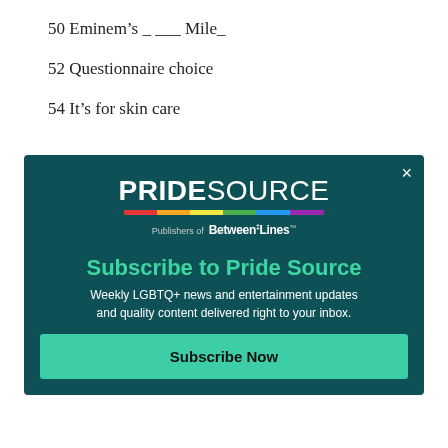50 Eminem's _ ___ Mile_
52 Questionnaire choice
54 It's for skin care
[Figure (screenshot): Pride Source subscription modal overlay with logo, rainbow bar, 'Publishers of Between the Lines', 'Subscribe to Pride Source' heading, descriptive text, and a 'Subscribe Now' button on a dark teal background.]